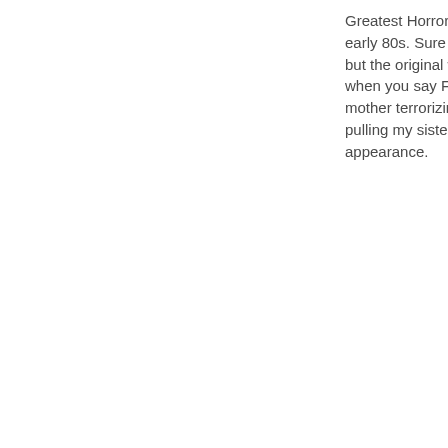Greatest Horror R... early 80s. Sure th... but the original w... when you say Fri... mother terrorizin... pulling my sister... appearance.